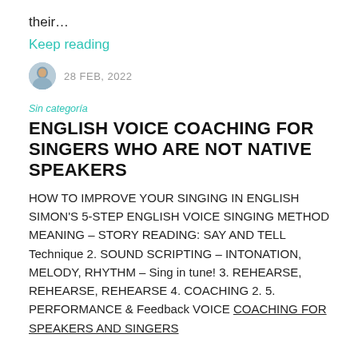their...
Keep reading
28 FEB, 2022
Sin categoría
ENGLISH VOICE COACHING FOR SINGERS WHO ARE NOT NATIVE SPEAKERS
HOW TO IMPROVE YOUR SINGING IN ENGLISH SIMON'S 5-STEP ENGLISH VOICE SINGING METHOD MEANING – STORY READING: SAY AND TELL Technique 2. SOUND SCRIPTING – INTONATION, MELODY, RHYTHM – Sing in tune! 3. REHEARSE, REHEARSE, REHEARSE 4. COACHING 2. 5. PERFORMANCE & Feedback VOICE COACHING FOR SPEAKERS AND SINGERS